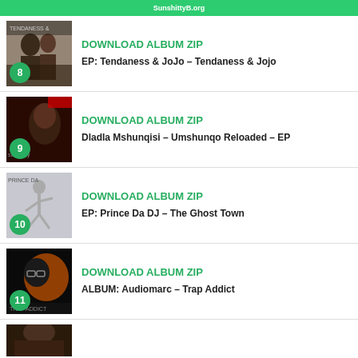SunshittyB.org
DOWNLOAD ALBUM ZIP
EP: Tendaness & JoJo – Tendaness & Jojo
DOWNLOAD ALBUM ZIP
Dladla Mshunqisi – Umshunqo Reloaded – EP
DOWNLOAD ALBUM ZIP
EP: Prince Da DJ – The Ghost Town
DOWNLOAD ALBUM ZIP
ALBUM: Audiomarc – Trap Addict
[Figure (photo): Partial view of album artwork at bottom of page, number 12]